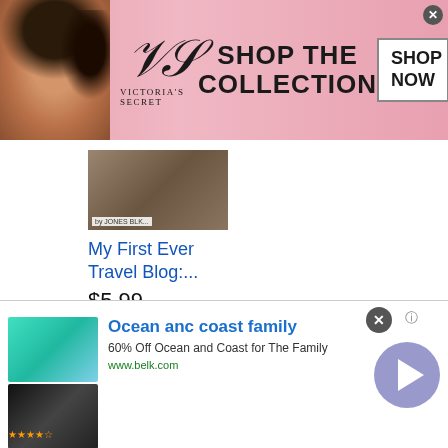[Figure (screenshot): Victoria's Secret advertisement banner with model, logo, 'SHOP THE COLLECTION' text, and 'SHOP NOW' button]
[Figure (photo): Travel blog book product image thumbnail]
My First Ever Travel Blog:....
$5.99
[Figure (screenshot): Amazon 'Shop now' button with Amazon logo]
[Figure (screenshot): Amazon logo with smile]
[Figure (photo): South America Borders book cover showing a tower/dome building]
[Figure (screenshot): Bottom advertisement for Belk - Ocean and Coast family swimwear showing swim clothing items and arrow button]
Ocean anc coast family
60% Off Ocean and Coast for The Family
www.belk.com